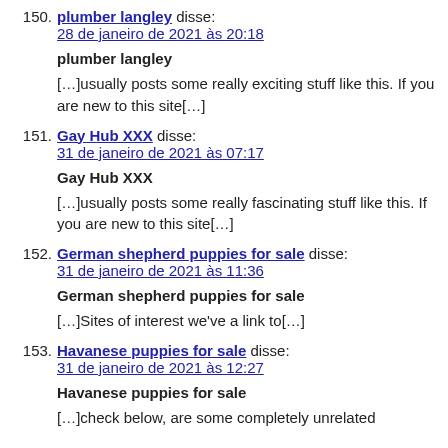150. plumber langley disse:
28 de janeiro de 2021 às 20:18
plumber langley
[…]usually posts some really exciting stuff like this. If you are new to this site[…]
151. Gay Hub XXX disse:
31 de janeiro de 2021 às 07:17
Gay Hub XXX
[…]usually posts some really fascinating stuff like this. If you are new to this site[…]
152. German shepherd puppies for sale disse:
31 de janeiro de 2021 às 11:36
German shepherd puppies for sale
[…]Sites of interest we've a link to[…]
153. Havanese puppies for sale disse:
31 de janeiro de 2021 às 12:27
Havanese puppies for sale
[…]check below, are some completely unrelated internet sites to ours, however they are most certainly worth going over[…]